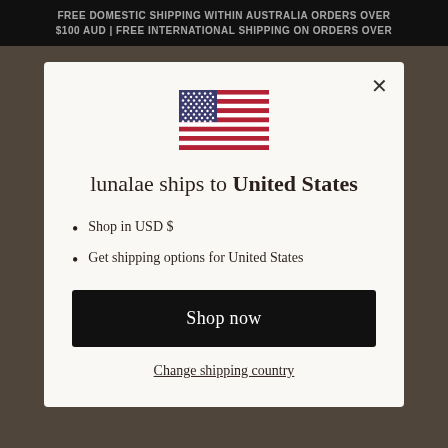FREE DOMESTIC SHIPPING WITHIN AUSTRALIA ORDERS OVER $100 AUD | FREE INTERNATIONAL SHIPPING ON ORDERS OVER
[Figure (illustration): US flag emoji/icon centered in modal]
lunalae ships to United States
Shop in USD $
Get shipping options for United States
Shop now
Change shipping country